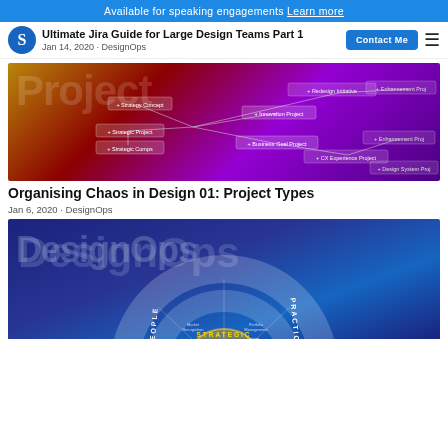Available for speaking engagements Learn more
Ultimate Jira Guide for Large Design Teams Part 1
Jan 14, 2020 · DesignOps
[Figure (screenshot): Dark gradient mind-map diagram showing project types branching from Strategic Project node, on a purple-orange-pink background with text labels for project types]
Organising Chaos in Design 01: Project Types
Jan 6, 2020 · DesignOps
[Figure (infographic): DesignOps circular concentric diagram on dark blue background showing STRATEGIC, TACTICAL, ADMINISTRATIVE rings with PEOPLE and PRACTICES axes, and labels like Market Recognition, Portfolio Management, Design Management, Governance Model, etc.]